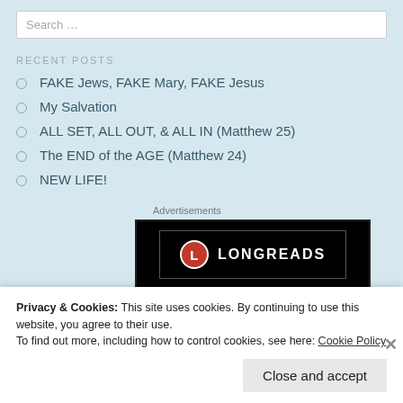Search …
RECENT POSTS
FAKE Jews, FAKE Mary, FAKE Jesus
My Salvation
ALL SET, ALL OUT, & ALL IN (Matthew 25)
The END of the AGE (Matthew 24)
NEW LIFE!
Advertisements
[Figure (logo): Longreads logo on black background — red circle with white L, white text LONGREADS]
Privacy & Cookies: This site uses cookies. By continuing to use this website, you agree to their use.
To find out more, including how to control cookies, see here: Cookie Policy
Close and accept